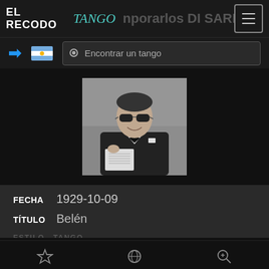EL RECODO TANGO — Contemporarios DI SARLI
[Figure (screenshot): Search bar with login arrow icon, Argentine flag, and 'Encontrar un tango' search field]
[Figure (photo): Black and white photograph of a man wearing sunglasses and a tuxedo with bow tie, holding sheet music, likely Carlos Di Sarli]
FECHA  1929-10-09
TÍTULO  Belén
Navigation bar with star, globe, and search icons